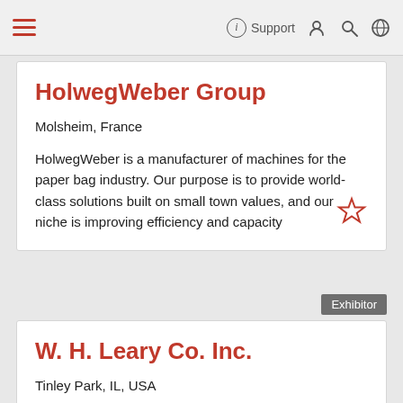HolwegWeber Group — Support navigation bar
HolwegWeber Group
Molsheim, France
HolwegWeber is a manufacturer of machines for the paper bag industry. Our purpose is to provide world-class solutions built on small town values, and our niche is improving efficiency and capacity
Exhibitor
W. H. Leary Co. Inc.
Tinley Park, IL, USA
W. H. Leary Company, Inc. is a leading innovative provider